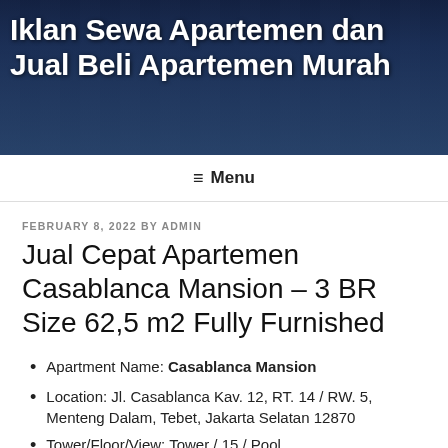Iklan Sewa Apartemen dan Jual Beli Apartemen Murah
≡ Menu
FEBRUARY 8, 2022 BY ADMIN
Jual Cepat Apartemen Casablanca Mansion – 3 BR Size 62,5 m2 Fully Furnished
Apartment Name: Casablanca Mansion
Location: Jl. Casablanca Kav. 12, RT. 14 / RW. 5, Menteng Dalam, Tebet, Jakarta Selatan 12870
Tower/Floor/View: Tower / 15 / Pool
Indonesian